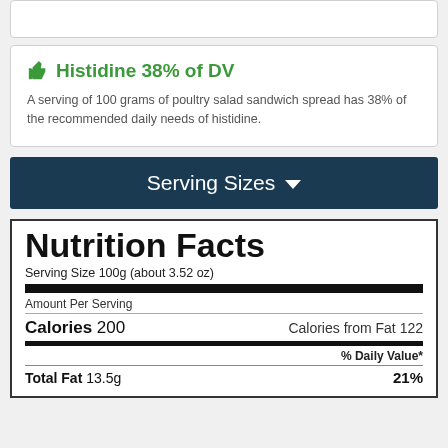👍 Histidine 38% of DV
A serving of 100 grams of poultry salad sandwich spread has 38% of the recommended daily needs of histidine.
Serving Sizes ▾
Nutrition Facts
Serving Size 100g (about 3.52 oz)
Amount Per Serving
Calories 200  Calories from Fat 122
% Daily Value*
Total Fat 13.5g  21%